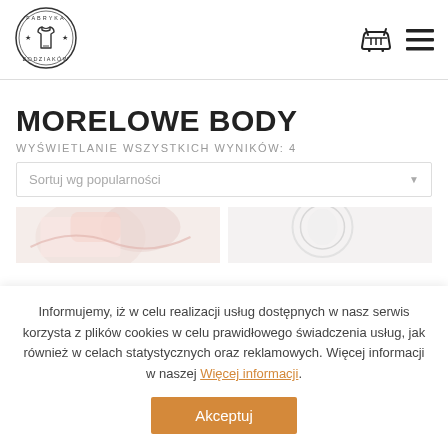[Figure (logo): Fabryka Bodziaków circular logo with baby onesie icon and stars]
[Figure (other): Shopping basket icon and hamburger menu icon in header]
MORELOWE BODY
WYŚWIETLANIE WSZYSTKICH WYNIKÓW: 4
Sortuj wg popularności
[Figure (photo): Two partial product thumbnail images of baby bodysuits]
Informujemy, iż w celu realizacji usług dostępnych w nasz serwis korzysta z plików cookies w celu prawidłowego świadczenia usług, jak również w celach statystycznych oraz reklamowych. Więcej informacji w naszej Więcej informacji.
Akceptuj